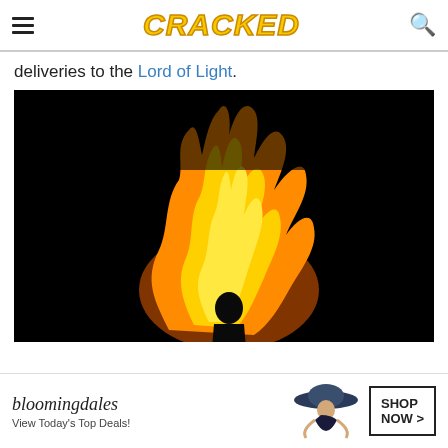CRACKED
deliveries to the Lord of Light.
[Figure (photo): A silhouetted person standing before a large fire or explosion against a completely dark background. The fire is vivid orange, yellow, and red, rising high and forming a dramatic shape behind the dark human silhouette.]
[Figure (other): Bloomingdales advertisement banner: 'bloomingdales / View Today's Top Deals!' with a woman wearing a wide-brimmed hat and a 'SHOP NOW >' button.]